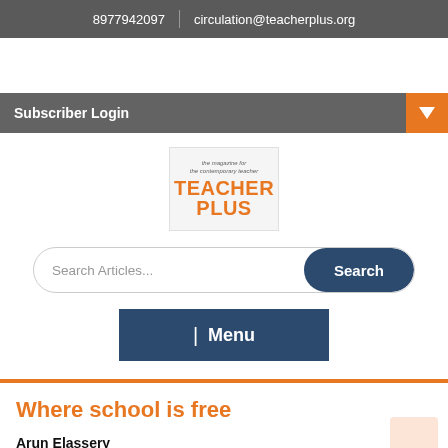8977942097 | circulation@teacherplus.org
Subscriber Login
[Figure (logo): Teacher Plus magazine logo with tagline 'the magazine for the contemporary teacher']
Search Articles...
Menu
Where school is free
Arun Elassery